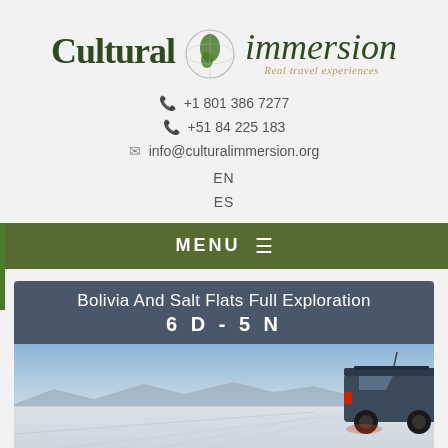[Figure (logo): Cultural Immersion logo with South America globe graphic and tagline 'Real travel experiences']
+1 801 386 7277
+51 84 225 183
info@culturalimmersion.org
EN
ES
MENU ☰
Bolivia And Salt Flats Full Exploration
6 D - 5 N
[Figure (photo): Salt flats landscape at dusk with a 4x4 vehicle parked on the right side, mountains in background, pale blue sky]